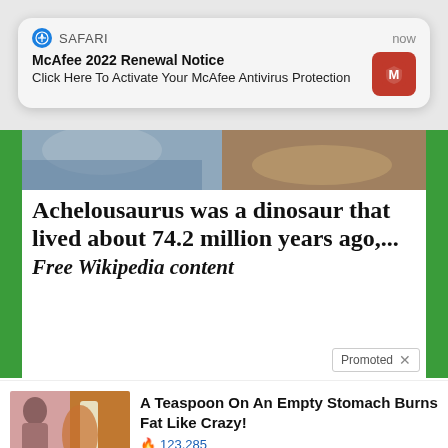[Figure (screenshot): Safari browser push notification for McAfee 2022 Renewal Notice with red McAfee icon]
McAfee 2022 Renewal Notice
Click Here To Activate Your McAfee Antivirus Protection
[Figure (screenshot): Wikipedia article snippet with green sidebar bars and photo strip. Headline: Achelousaurus was a dinosaur that lived about 74.2 million years ago,... Free Wikipedia content]
Promoted X
[Figure (screenshot): Ad thumbnail: woman touching stomach beside spices]
A Teaspoon On An Empty Stomach Burns Fat Like Crazy!
🔥 123,285
[Figure (screenshot): Ad thumbnail: anatomical legs diagram with fat deposits highlighted]
How To Lose 40.5 Lbs In A Month (Eat This Once Every Day)
🔥 40,660